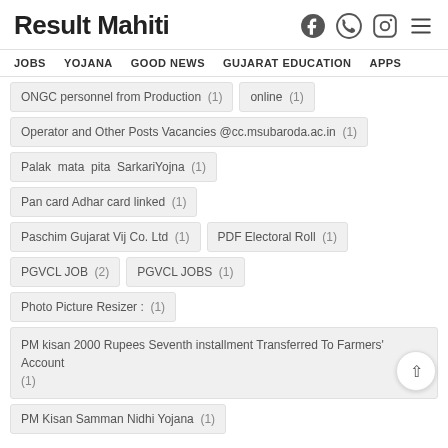Result Mahiti
JOBS  YOJANA  GOOD NEWS  GUJARAT EDUCATION  APPS
ONGC personnel from Production (1)
online (1)
Operator and Other Posts Vacancies @cc.msubaroda.ac.in (1)
Palak mata pita SarkariYojna (1)
Pan card Adhar card linked (1)
Paschim Gujarat Vij Co. Ltd (1)
PDF Electoral Roll (1)
PGVCL JOB (2)
PGVCL JOBS (1)
Photo Picture Resizer : (1)
PM kisan 2000 Rupees Seventh installment Transferred To Farmers' Account (1)
PM Kisan Samman Nidhi Yojana (1)